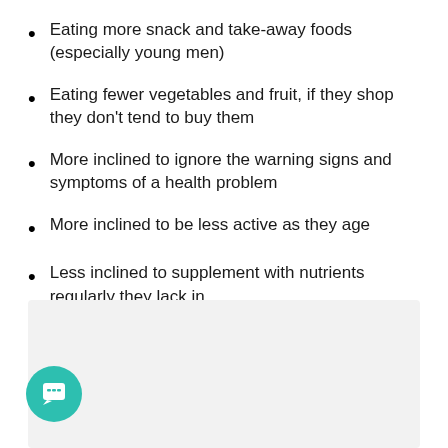Eating more snack and take-away foods (especially young men)
Eating fewer vegetables and fruit, if they shop they don't tend to buy them
More inclined to ignore the warning signs and symptoms of a health problem
More inclined to be less active as they age
Less inclined to supplement with nutrients regularly they lack in
[Figure (other): Gray box background area at bottom of page with a teal circular chat icon button in the lower left corner]